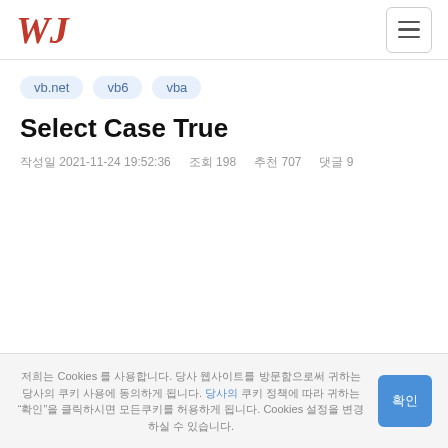WJ (logo) | hamburger menu
vb.net
vb6
vba
Select Case True
작성일 2021-11-24 19:52:36   조회 198   추천 707   댓글 9
저희는 Cookies 를 사용합니다. 당사 웹사이트를 방문함으로써 귀하는 당사의 쿠키 사용에 동의하게 됩니다. "확인"을 클릭하시면 모든 쿠키를 허용하게 됩니다. Cookies 설정을 변경하실 수 있습니다. 확인